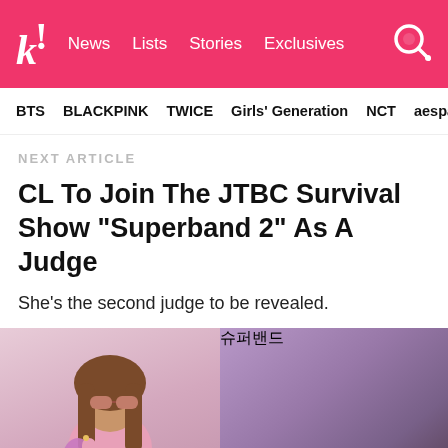k! News  Lists  Stories  Exclusives
BTS  BLACKPINK  TWICE  Girls' Generation  NCT  aespa
NEXT ARTICLE
CL To Join The JTBC Survival Show “Superband 2” As A Judge
She’s the second judge to be revealed.
[Figure (photo): Two side-by-side photos: left shows CL wearing pink outfit with sunglasses and pink headphones; right shows Superband 2 promotional image with Korean text 슈퍼밴드 and silhouettes of band members with a blue arrow graphic]